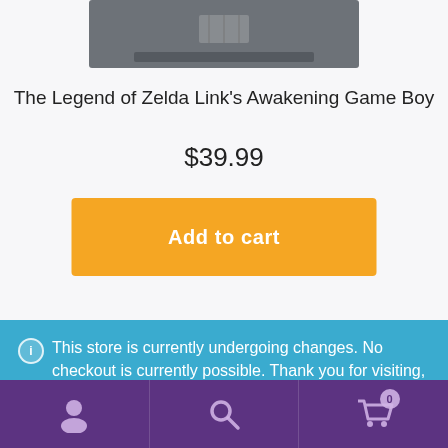[Figure (photo): Game Boy cartridge for The Legend of Zelda Link's Awakening, partially visible at top of page]
The Legend of Zelda Link’s Awakening Game Boy
$39.99
Add to cart
ⓘ This store is currently undergoing changes. No checkout is currently possible. Thank you for visiting, come again when our site is ready!
Dismiss
[Figure (screenshot): Purple bottom navigation bar with user account icon, search icon, and shopping cart icon with badge showing 0]